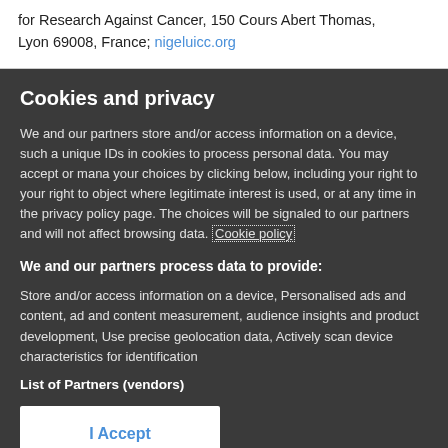for Research Against Cancer, 150 Cours Abert Thomas, Lyon 69008, France; nigeluicc.org
Cookies and privacy
We and our partners store and/or access information on a device, such as unique IDs in cookies to process personal data. You may accept or manage your choices by clicking below, including your right to object where legitimate interest is used, or at any time in the privacy policy page. These choices will be signaled to our partners and will not affect browsing data. Cookie policy
We and our partners process data to provide:
Store and/or access information on a device, Personalised ads and content, ad and content measurement, audience insights and product development, Use precise geolocation data, Actively scan device characteristics for identification
List of Partners (vendors)
I Accept